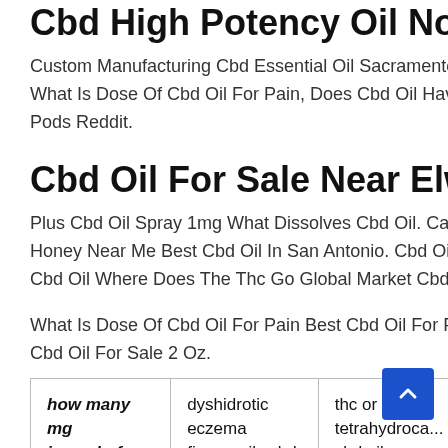Cbd High Potency Oil Not Th...
Custom Manufacturing Cbd Essential Oil Sacramento F... What Is Dose Of Cbd Oil For Pain, Does Cbd Oil Have A... Pods Reddit.
Cbd Oil For Sale Near Elwood ...
Plus Cbd Oil Spray 1mg What Dissolves Cbd Oil. Can U... Honey Near Me Best Cbd Oil In San Antonio. Cbd Oil Im... Cbd Oil Where Does The Thc Go Global Market Cbd Oi...
What Is Dose Of Cbd Oil For Pain Best Cbd Oil For Fem... Cbd Oil For Sale 2 Oz.
| how many mg in a ml of cbd oil | dyshidrotic eczema fingernails cbd oil | thc or tetrahydroca... cbd oil |
| --- | --- | --- |
| CBD OIL BUSINESS | DC CANNABIS CBD ... | HOUTTE... |